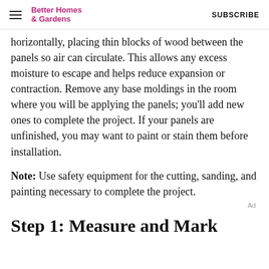Better Homes & Gardens  SUBSCRIBE
horizontally, placing thin blocks of wood between the panels so air can circulate. This allows any excess moisture to escape and helps reduce expansion or contraction. Remove any base moldings in the room where you will be applying the panels; you'll add new ones to complete the project. If your panels are unfinished, you may want to paint or stain them before installation.
Note: Use safety equipment for the cutting, sanding, and painting necessary to complete the project.
Step 1: Measure and Mark